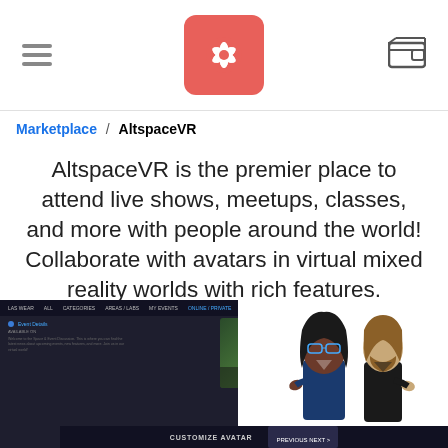AltspaceVR marketplace app header with logo
Marketplace / AltspaceVR
AltspaceVR is the premier place to attend live shows, meetups, classes, and more with people around the world! Collaborate with avatars in virtual mixed reality worlds with rich features.
[Figure (screenshot): AltspaceVR app screenshot showing UI interface and 3D avatars in a virtual meeting space, with a CUSTOMIZE AVATAR bar at the bottom]